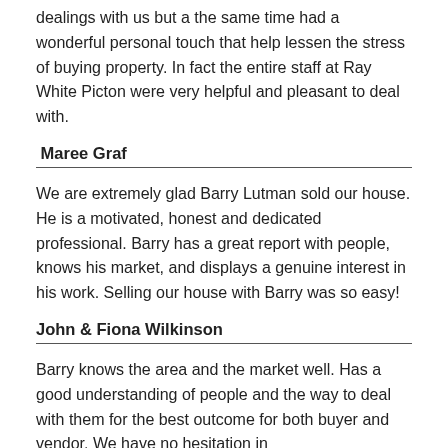dealings with us but a the same time had a wonderful personal touch that help lessen the stress of buying property. In fact the entire staff at Ray White Picton were very helpful and pleasant to deal with.
Maree Graf
We are extremely glad Barry Lutman sold our house. He is a motivated, honest and dedicated professional. Barry has a great report with people, knows his market, and displays a genuine interest in his work. Selling our house with Barry was so easy!
John & Fiona Wilkinson
Barry knows the area and the market well. Has a good understanding of people and the way to deal with them for the best outcome for both buyer and vendor. We have no hesitation in